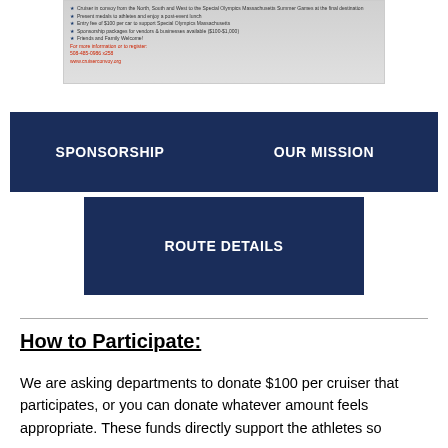[Figure (illustration): Partial view of a cruiser convoy event flyer with bullet points, contact info in red (508-485-0986 x258, www.cruiserconvoy.org), and a map graphic on the right side.]
SPONSORSHIP
OUR MISSION
ROUTE DETAILS
How to Participate:
We are asking departments to donate $100 per cruiser that participates, or you can donate whatever amount feels appropriate. These funds directly support the athletes so